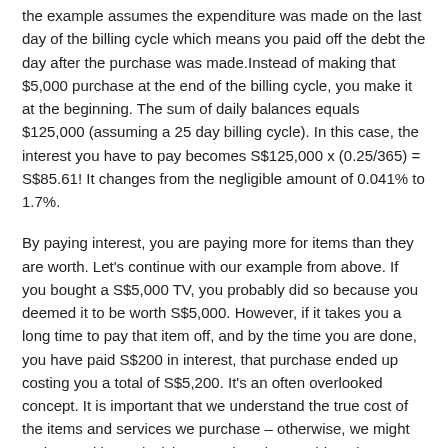the example assumes the expenditure was made on the last day of the billing cycle which means you paid off the debt the day after the purchase was made.Instead of making that $5,000 purchase at the end of the billing cycle, you make it at the beginning. The sum of daily balances equals $125,000 (assuming a 25 day billing cycle). In this case, the interest you have to pay becomes S$125,000 x (0.25/365) = S$85.61! It changes from the negligible amount of 0.041% to 1.7%.
By paying interest, you are paying more for items than they are worth. Let's continue with our example from above. If you bought a S$5,000 TV, you probably did so because you deemed it to be worth S$5,000. However, if it takes you a long time to pay that item off, and by the time you are done, you have paid S$200 in interest, that purchase ended up costing you a total of S$5,200. It's an often overlooked concept. It is important that we understand the true cost of the items and services we purchase – otherwise, we might end up making a decision we otherwise would not have, given all the information.
This is why we always urge our readers to pay off their credit card balances in full – before interest is charged. Small purchases like